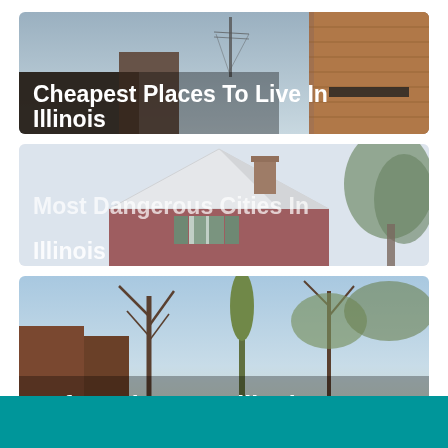[Figure (photo): Urban street scene with utility poles, wires, and brick buildings in Illinois. Text overlay reads 'Cheapest Places To Live In Illinois']
[Figure (photo): Residential house with steep gabled roof, brick chimney, red/maroon siding and green shutters, set against a misty sky with trees. Text overlay reads 'Most Dangerous Cities In Illinois']
[Figure (photo): Tree-lined urban street or park with bare spring trees, brick buildings, and a bright sky. Text overlay reads 'Safest Places In Illinois']